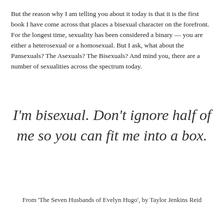But the reason why I am telling you about it today is that it is the first book I have come across that places a bisexual character on the forefront. For the longest time, sexuality has been considered a binary — you are either a heterosexual or a homosexual. But I ask, what about the Pansexuals? The Asexuals? The Bisexuals? And mind you, there are a number of sexualities across the spectrum today.
I'm bisexual. Don't ignore half of me so you can fit me into a box.
From 'The Seven Husbands of Evelyn Hugo', by Taylor Jenkins Reid